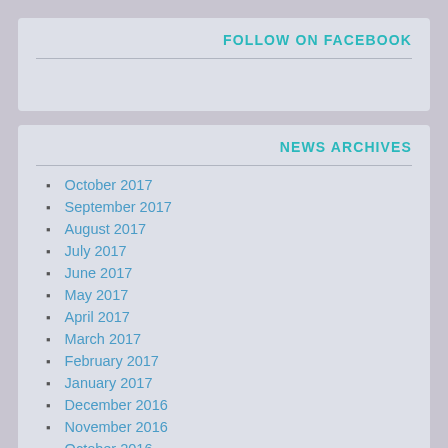FOLLOW ON FACEBOOK
NEWS ARCHIVES
October 2017
September 2017
August 2017
July 2017
June 2017
May 2017
April 2017
March 2017
February 2017
January 2017
December 2016
November 2016
October 2016
September 2016